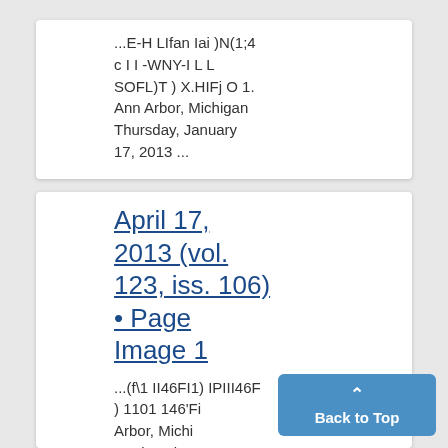...E-H LIfan Iai )N(1;4 c I I -WNY-I L L SOFL)T ) X.HIFj O 1. Ann Arbor, Michigan Thursday, January 17, 2013 ...
April 17, 2013 (vol. 123, iss. 106) • Page Image 1
...(f\1 II46FI1) IPIII46F ) 1101 146'Fi Arbor, Michi Wednesday,